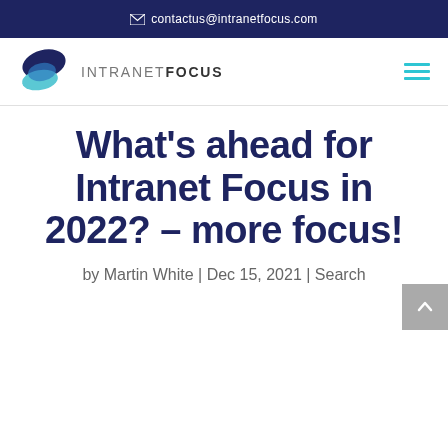contactus@intranetfocus.com
[Figure (logo): Intranet Focus logo with dark blue and light blue leaf/droplet shapes and INTRANETFOCUS text]
What's ahead for Intranet Focus in 2022? – more focus!
by Martin White | Dec 15, 2021 | Search